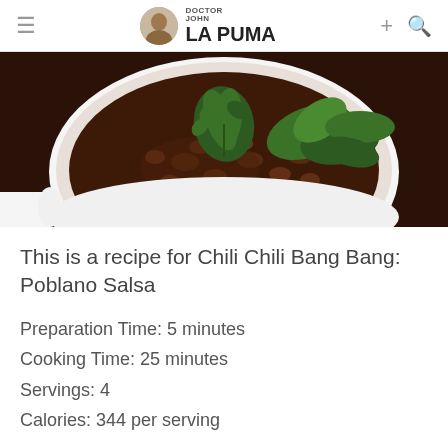Doctor John La Puma
[Figure (photo): Bowl of chili beans with fresh green herb garnish (parsley/cilantro) on a white plate, viewed from above]
This is a recipe for Chili Chili Bang Bang: Poblano Salsa
Preparation Time: 5 minutes
Cooking Time: 25 minutes
Servings: 4
Calories: 344 per serving